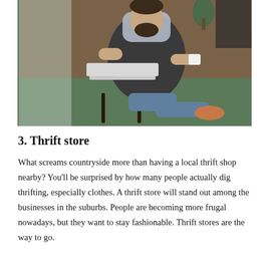[Figure (photo): A bearded man wearing a dark apron sits on a green surface next to a laptop, holding a white cup, in what appears to be a small shop or cafe interior.]
3. Thrift store
What screams countryside more than having a local thrift shop nearby? You'll be surprised by how many people actually dig thrifting, especially clothes. A thrift store will stand out among the businesses in the suburbs. People are becoming more frugal nowadays, but they want to stay fashionable. Thrift stores are the way to go.